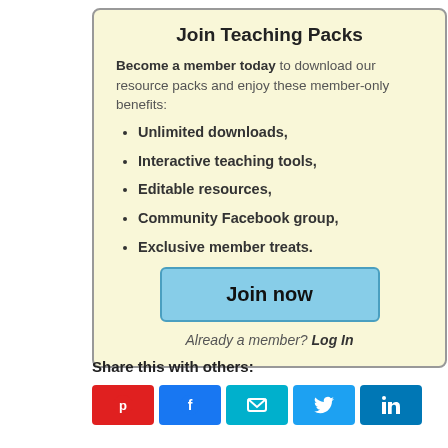Join Teaching Packs
Become a member today to download our resource packs and enjoy these member-only benefits:
Unlimited downloads,
Interactive teaching tools,
Editable resources,
Community Facebook group,
Exclusive member treats.
Join now
Already a member? Log In
Share this with others:
[Figure (other): Row of social share buttons: Pinterest (red), Facebook (blue), Email (teal), Twitter (blue), LinkedIn (blue)]